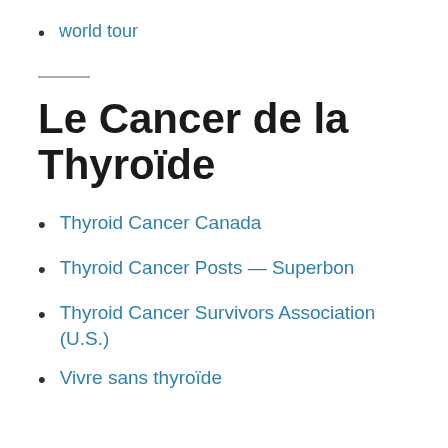world tour
Le Cancer de la Thyroïde
Thyroid Cancer Canada
Thyroid Cancer Posts — Superbon
Thyroid Cancer Survivors Association (U.S.)
Vivre sans thyroïde